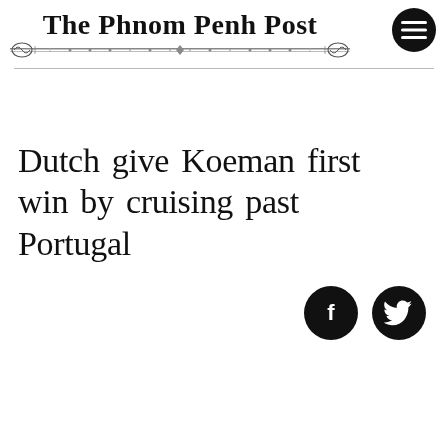The Phnom Penh Post
Dutch give Koeman first win by cruising past Portugal
[Figure (logo): Facebook share icon — black circle with white 'f' letter]
[Figure (logo): Twitter share icon — black circle with white bird silhouette]